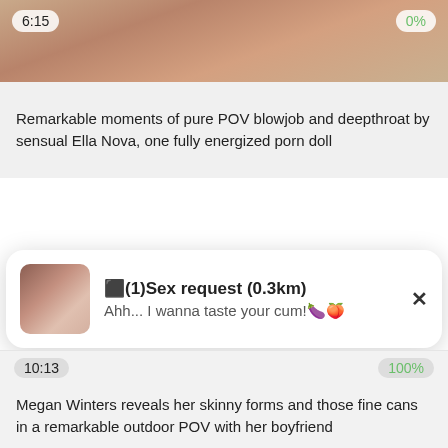[Figure (photo): Partial photo of a person, cropped at top]
Remarkable moments of pure POV blowjob and deepthroat by sensual Ella Nova, one fully energized porn doll
⬛(1)Sex request (0.3km)
Ahh... I wanna taste your cum!🍆🍑
Megan Winters reveals her skinny forms and those fine cans in a remarkable outdoor POV with her boyfriend